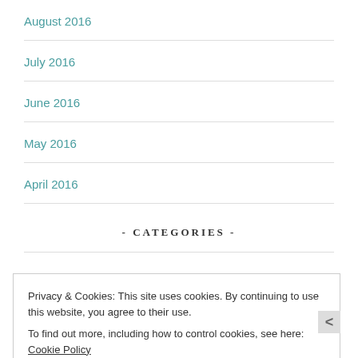August 2016
July 2016
June 2016
May 2016
April 2016
- CATEGORIES -
Privacy & Cookies: This site uses cookies. By continuing to use this website, you agree to their use.
To find out more, including how to control cookies, see here: Cookie Policy